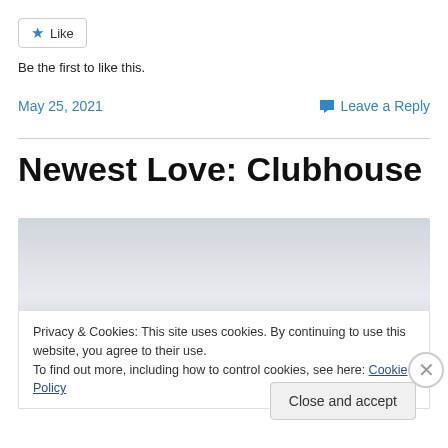★ Like
Be the first to like this.
May 25, 2021
💬 Leave a Reply
Newest Love: Clubhouse
[Figure (photo): Gray gradient placeholder image for blog post]
Privacy & Cookies: This site uses cookies. By continuing to use this website, you agree to their use.
To find out more, including how to control cookies, see here: Cookie Policy
Close and accept